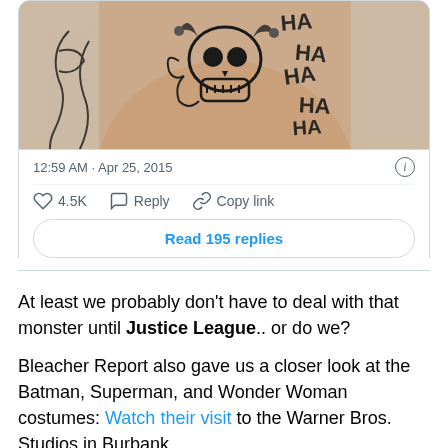[Figure (photo): Cropped photo of a person with tattoos including a skull design on the chest, shown from chest up, partially visible]
12:59 AM · Apr 25, 2015
4.5K  Reply  Copy link
Read 195 replies
At least we probably don't have to deal with that monster until Justice League.. or do we?
Bleacher Report also gave us a closer look at the Batman, Superman, and Wonder Woman costumes: Watch their visit to the Warner Bros. Studios in Burbank.
And this clip was all sorts of awesome. Yahoo got THE BEST answers when they asked 'Avengers' director Joss Whe...